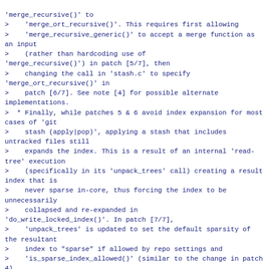'merge_recursive()' to
>    'merge_ort_recursive()'. This requires first allowing
>    'merge_recursive_generic()' to accept a merge function as an input
>    (rather than hardcoding use of 'merge_recursive()') in patch [5/7], then
>    changing the call in 'stash.c' to specify 'merge_ort_recursive()' in
>    patch [6/7]. See note [4] for possible alternate implementations.
>  * Finally, while patches 5 & 6 avoid index expansion for most cases of 'git
>    stash (apply|pop)', applying a stash that includes untracked files still
>    expands the index. This is a result of an internal 'read-tree' execution
>    (specifically in its 'unpack_trees' call) creating a result index that is
>    never sparse in-core, thus forcing the index to be unnecessarily
>    collapsed and re-expanded in 'do_write_locked_index()'. In patch [7/7],
>    'unpack_trees' is updated to set the default sparsity of the resultant
>    index to "sparse" if allowed by repo settings and
>    'is_sparse_index_allowed()' (similar to the change in patch 4).
>
> Performance results (from the 'p2000' tests):